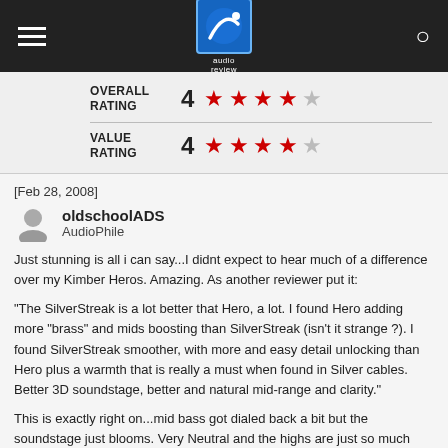audio review
| Category | Rating | Stars |
| --- | --- | --- |
| OVERALL RATING | 4 | ★★★★☆ |
| VALUE RATING | 4 | ★★★★☆ |
[Feb 28, 2008]
oldschoolADS
AudioPhile
Just stunning is all i can say...I didnt expect to hear much of a difference over my Kimber Heros. Amazing. As another reviewer put it:
"The SilverStreak is a lot better that Hero, a lot. I found Hero adding more "brass" and mids boosting than SilverStreak (isn't it strange ?). I found SilverStreak smoother, with more and easy detail unlocking than Hero plus a warmth that is really a must when found in Silver cables. Better 3D soundstage, better and natural mid-range and clarity."
This is exactly right on...mid bass got dialed back a bit but the soundstage just blooms. Very Neutral and the highs are just so much more detailed. Just makes me want to scream at the detractors who say cables are a waste of money. I'm listening to Girl in the Other Room by Dianne Krall over and over just because